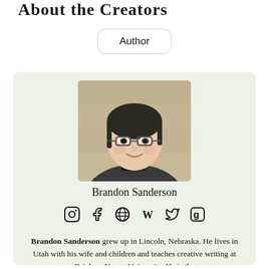About the Creators
Author
[Figure (photo): Author photo of Brandon Sanderson, a man with dark hair and glasses wearing a dark jacket, smiling, with a stone/brick background]
Brandon Sanderson
Social media icons: Instagram, Facebook, website/globe, Wikipedia, Twitter, Goodreads
Brandon Sanderson grew up in Lincoln, Nebraska. He lives in Utah with his wife and children and teaches creative writing at Brigham Young University. He is the